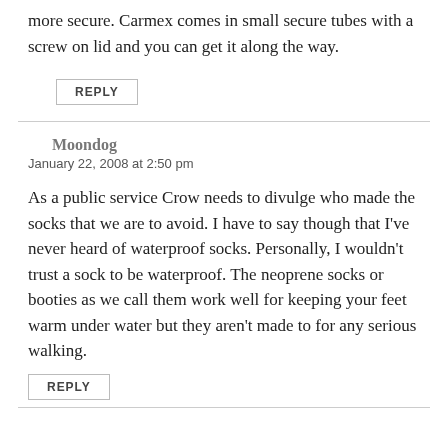more secure. Carmex comes in small secure tubes with a screw on lid and you can get it along the way.
REPLY
Moondog
January 22, 2008 at 2:50 pm
As a public service Crow needs to divulge who made the socks that we are to avoid. I have to say though that I've never heard of waterproof socks. Personally, I wouldn't trust a sock to be waterproof. The neoprene socks or booties as we call them work well for keeping your feet warm under water but they aren't made to for any serious walking.
REPLY